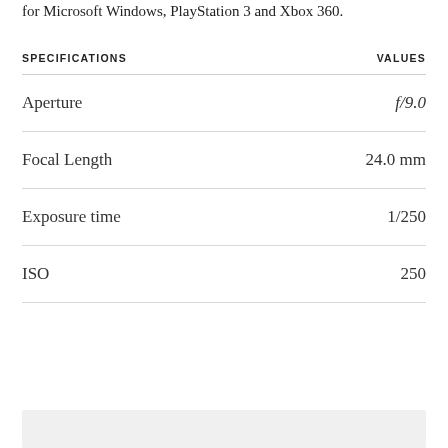for Microsoft Windows, PlayStation 3 and Xbox 360.
| SPECIFICATIONS | VALUES |
| --- | --- |
| Aperture | f/9.0 |
| Focal Length | 24.0 mm |
| Exposure time | 1/250 |
| ISO | 250 |